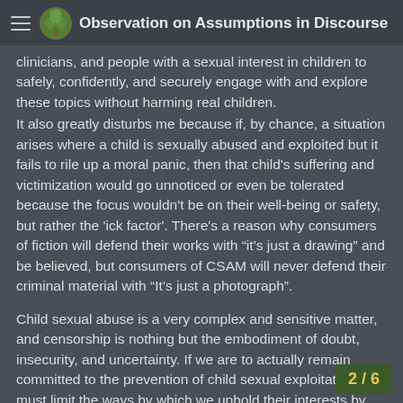Observation on Assumptions in Discourse
clinicians, and people with a sexual interest in children to safely, confidently, and securely engage with and explore these topics without harming real children.
It also greatly disturbs me because if, by chance, a situation arises where a child is sexually abused and exploited but it fails to rile up a moral panic, then that child's suffering and victimization would go unnoticed or even be tolerated because the focus wouldn't be on their well-being or safety, but rather the 'ick factor'. There's a reason why consumers of fiction will defend their works with “it’s just a drawing” and be believed, but consumers of CSAM will never defend their criminal material with “It’s just a photograph”.
Child sexual abuse is a very complex and sensitive matter, and censorship is nothing but the embodiment of doubt, insecurity, and uncertainty. If we are to actually remain committed to the prevention of child sexual exploitation, we must limit the ways by which we uphold their interests by restr... only to matters that actually involve those i...
2 / 6